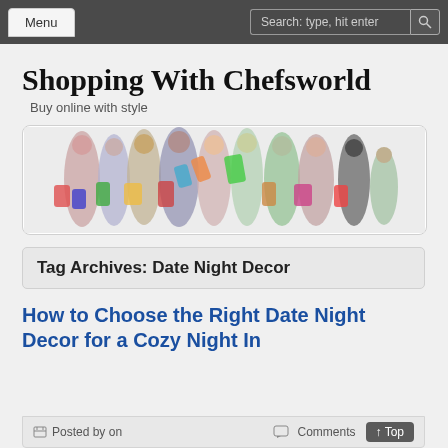Menu | Search: type, hit enter
Shopping With Chefsworld
Buy online with style
[Figure (photo): Group of young people holding colorful shopping bags, smiling and celebrating, on white background]
Tag Archives: Date Night Decor
How to Choose the Right Date Night Decor for a Cozy Night In
Posted by on | Comments | ↑ Top